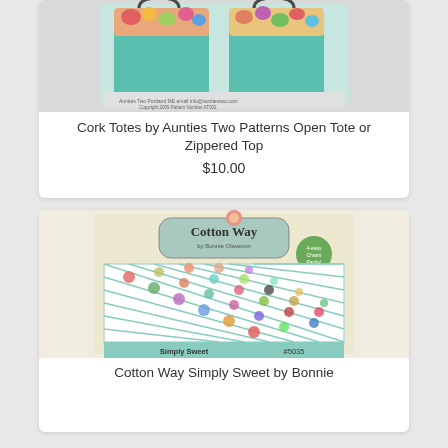[Figure (photo): Product image of Cork Totes by Aunties Two Patterns, showing colorful floral fabric tote bags]
Cork Totes by Aunties Two Patterns Open Tote or Zippered Top
$10.00
[Figure (photo): Product image of Cotton Way Simply Sweet quilt pattern by Bonnie Olaveson, showing a quilt with colorful circular flower blocks on diagonal lattice]
Cotton Way Simply Sweet by Bonnie